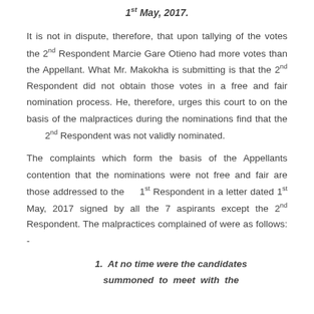1st May, 2017.
It is not in dispute, therefore, that upon tallying of the votes the 2nd Respondent Marcie Gare Otieno had more votes than the Appellant. What Mr. Makokha is submitting is that the 2nd Respondent did not obtain those votes in a free and fair nomination process. He, therefore, urges this court to on the basis of the malpractices during the nominations find that the 2nd Respondent was not validly nominated.
The complaints which form the basis of the Appellants contention that the nominations were not free and fair are those addressed to the 1st Respondent in a letter dated 1st May, 2017 signed by all the 7 aspirants except the 2nd Respondent. The malpractices complained of were as follows: -
1. At no time were the candidates summoned to meet with the